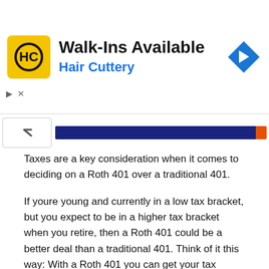[Figure (infographic): Hair Cuttery advertisement banner with logo, 'Walk-Ins Available' text, and navigation arrow icon]
Taxes are a key consideration when it comes to deciding on a Roth 401 over a traditional 401.
If youre young and currently in a low tax bracket, but you expect to be in a higher tax bracket when you retire, then a Roth 401 could be a better deal than a traditional 401. Think of it this way: With a Roth 401 you can get your tax obligation out of the way when your tax rate is low and then enjoy the tax-free earnings later in life.
The same argument can apply to mid-career workers as well, especially those concerned about the prospects for higher tax rates in the future. After all, current tax rates are